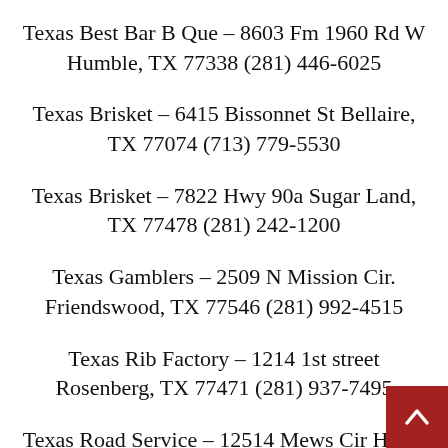Texas Best Bar B Que – 8603 Fm 1960 Rd W Humble, TX 77338 (281) 446-6025
Texas Brisket – 6415 Bissonnet St Bellaire, TX 77074 (713) 779-5530
Texas Brisket – 7822 Hwy 90a Sugar Land, TX 77478 (281) 242-1200
Texas Gamblers – 2509 N Mission Cir. Friendswood, TX 77546 (281) 992-4515
Texas Rib Factory – 1214 1st street Rosenberg, TX 77471 (281) 937-7495
Texas Road Service – 12514 Mews Cir Houst…